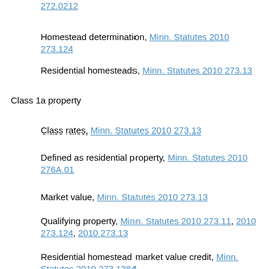272.0212
Homestead determination, Minn. Statutes 2010 273.124
Residential homesteads, Minn. Statutes 2010 273.13
Class 1a property
Class rates, Minn. Statutes 2010 273.13
Defined as residential property, Minn. Statutes 2010 276A.01
Market value, Minn. Statutes 2010 273.13
Qualifying property, Minn. Statutes 2010 273.11, 2010 273.124, 2010 273.13
Residential homestead market value credit, Minn. Statutes 2010 273.1384
Class 1b property
Certification, procedures, Minn. Statutes 2010 273.1315